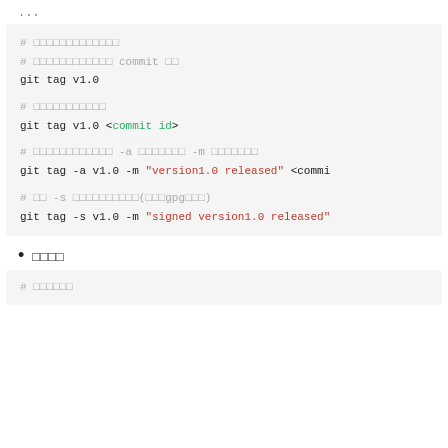...
# □□□□□□□□□□□□□
# □□□□□□□□□□□□ commit □□
git tag v1.0

# □□□□□□□□□□□
git tag v1.0 <commit id>

# □□□□□□□□□□□□ -a □□□□□□□ -m □□□□□□□
git tag -a v1.0 -m "version1.0 released" <commi

# □□ -s □□□□□□□□□□(□□□gpg□□□)
git tag -s v1.0 -m "signed version1.0 released"
□□□□
# □□□□□□